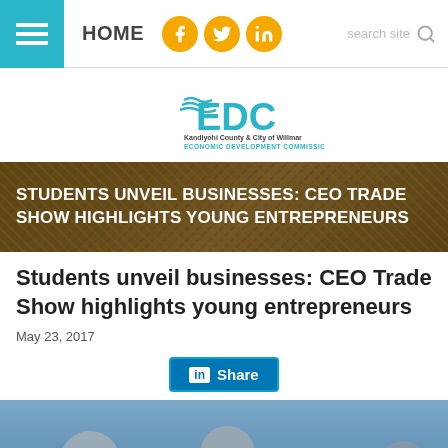HOME | social icons: Facebook, Twitter, LinkedIn | search site
[Figure (logo): EDC Kandiyohi County & City of Willmar Economic Development Commission logo]
STUDENTS UNVEIL BUSINESSES: CEO TRADE SHOW HIGHLIGHTS YOUNG ENTREPRENEURS
Students unveil businesses: CEO Trade Show highlights young entrepreneurs
May 23, 2017
[Figure (other): LinkedIn Share button]
[Figure (photo): Photo of students at CEO Trade Show, young entrepreneurs presenting businesses]
Translate »